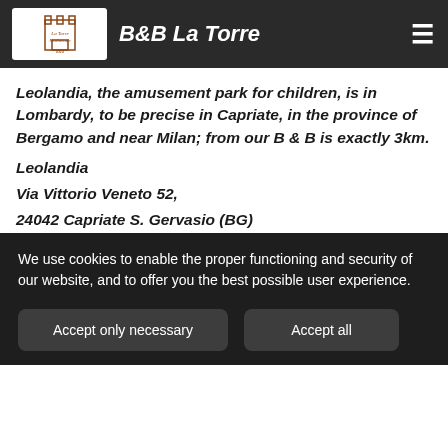B&B La Torre
Leolandia, the amusement park for children, is in Lombardy, to be precise in Capriate, in the province of Bergamo and near Milan; from our B & B is exactly 3km.
Leolandia
Via Vittorio Veneto 52,
24042 Capriate S. Gervasio (BG)
We use cookies to enable the proper functioning and security of our website, and to offer you the best possible user experience.
Accept only necessary
Accept all